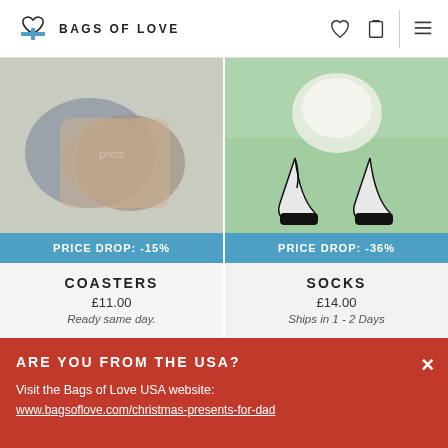BAGS OF LOVE
[Figure (photo): Coasters product photo - photo collage coasters with group of friends]
PRICE DROP: -15%
COASTERS
£11.00
Ready same day.
[Figure (photo): Socks product photo - white dog on green grass printed on socks with black toe/heel]
PRICE DROP: -36%
SOCKS
£14.00
Ships in 1 - 2 Days
ARE YOU FROM THE USA?
Visit the Bags of Love USA website:
www.bagsoflove.com/christmas-presents-for-dad